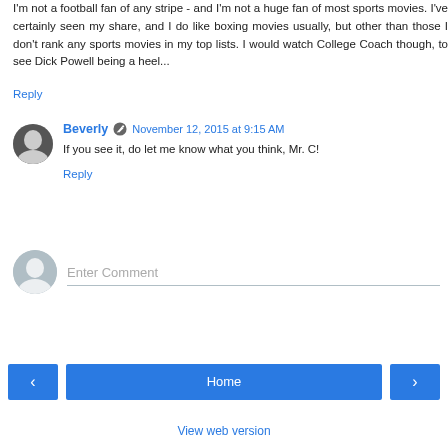I'm not a football fan of any stripe - and I'm not a huge fan of most sports movies. I've certainly seen my share, and I do like boxing movies usually, but other than those I don't rank any sports movies in my top lists. I would watch College Coach though, to see Dick Powell being a heel...
Reply
Beverly  November 12, 2015 at 9:15 AM
If you see it, do let me know what you think, Mr. C!
Reply
Enter Comment
Home
View web version